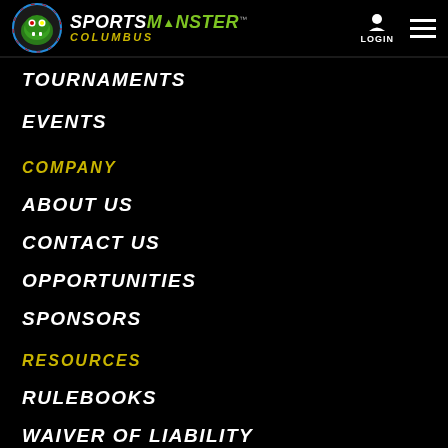SPORTS MONSTER COLUMBUS — LOGIN
TOURNAMENTS
EVENTS
COMPANY
ABOUT US
CONTACT US
OPPORTUNITIES
SPONSORS
RESOURCES
RULEBOOKS
WAIVER OF LIABILITY
TERMS & CONDITIONS